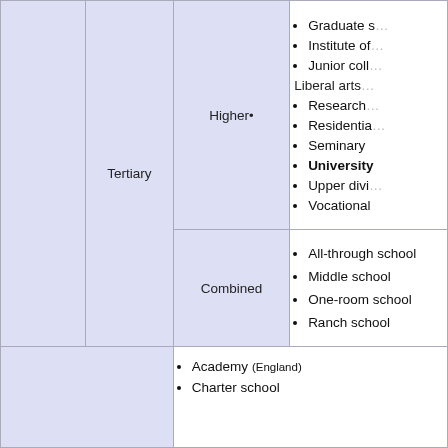|  |  | Level | Types |
| --- | --- | --- | --- |
|  | Tertiary | Higher | Graduate s...
Institute of...
Junior coll...
Liberal arts...
Research...
Residential...
Seminary
University
Upper divi...
Vocational... |
|  | Combined |  | All-through school
Middle school
One-room school
Ranch school |
Academy (England)
Charter school